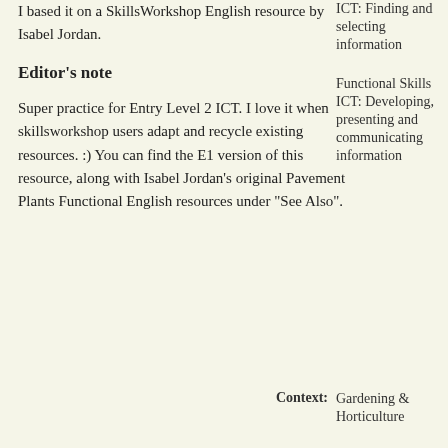I based it on a SkillsWorkshop English resource by Isabel Jordan.
Editor's note
Super practice for Entry Level 2 ICT. I love it when skillsworkshop users adapt and recycle existing resources. :) You can find the E1 version of this resource, along with Isabel Jordan's original Pavement Plants Functional English resources under "See Also".
ICT: Finding and selecting information
Functional Skills ICT: Developing, presenting and communicating information
Context:
Gardening & Horticulture